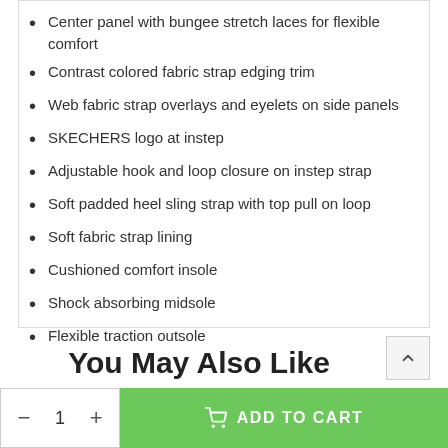Center panel with bungee stretch laces for flexible comfort
Contrast colored fabric strap edging trim
Web fabric strap overlays and eyelets on side panels
SKECHERS logo at instep
Adjustable hook and loop closure on instep strap
Soft padded heel sling strap with top pull on loop
Soft fabric strap lining
Cushioned comfort insole
Shock absorbing midsole
Flexible traction outsole
You May Also Like
- 1 +
ADD TO CART